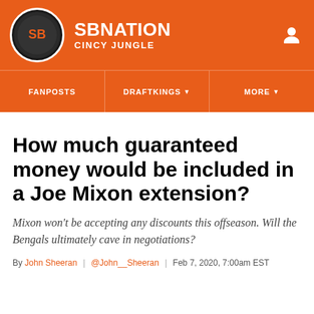SBNATION CINCY JUNGLE
FANPOSTS | DRAFTKINGS | MORE
How much guaranteed money would be included in a Joe Mixon extension?
Mixon won't be accepting any discounts this offseason. Will the Bengals ultimately cave in negotiations?
By John Sheeran | @John__Sheeran | Feb 7, 2020, 7:00am EST